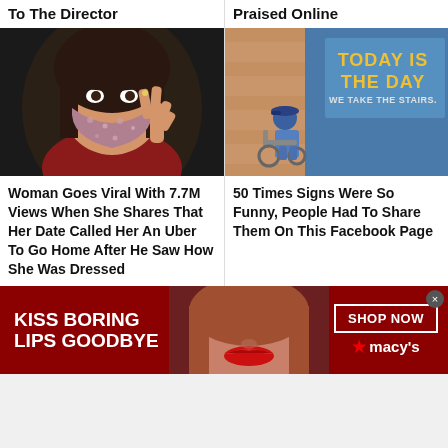To The Director
Praised Online
[Figure (photo): Woman wearing a floral face mask giving a peace sign, selfie in a car]
[Figure (photo): Person in wheelchair at bottom of stairs next to sign reading TODAY IS THE DAY WE TAKE THE STAIRS.]
Woman Goes Viral With 7.7M Views When She Shares That Her Date Called Her An Uber To Go Home After He Saw How She Was Dressed
50 Times Signs Were So Funny, People Had To Share Them On This Facebook Page
[Figure (photo): Advertisement banner: KISS BORING LIPS GOODBYE with woman's face showing red lips, SHOP NOW button, Macy's star logo]